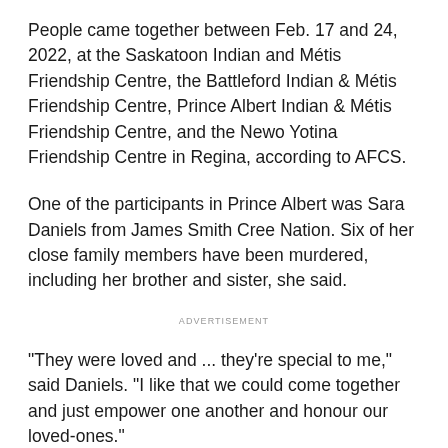People came together between Feb. 17 and 24, 2022, at the Saskatoon Indian and Métis Friendship Centre, the Battleford Indian & Métis Friendship Centre, Prince Albert Indian & Métis Friendship Centre, and the Newo Yotina Friendship Centre in Regina, according to AFCS.
One of the participants in Prince Albert was Sara Daniels from James Smith Cree Nation. Six of her close family members have been murdered, including her brother and sister, she said.
ADVERTISEMENT
"They were loved and ... they're special to me," said Daniels. "I like that we could come together and just empower one another and honour our loved-ones."